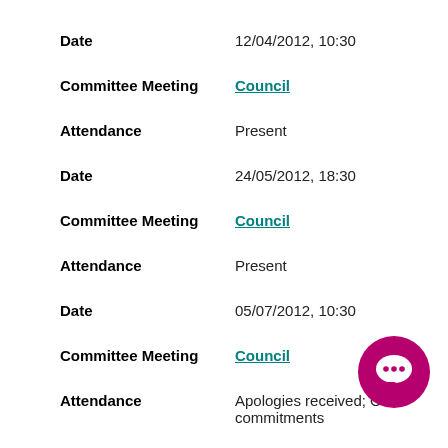Date    12/04/2012, 10:30
Committee Meeting    Council
Attendance    Present
Date    24/05/2012, 18:30
Committee Meeting    Council
Attendance    Present
Date    05/07/2012, 10:30
Committee Meeting    Council
Attendance    Apologies received; Other commitments